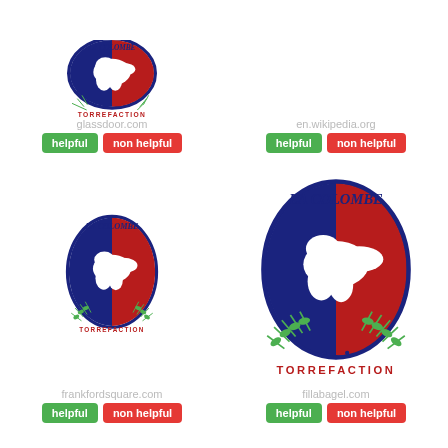[Figure (logo): La Colombe Torrefaction logo (small, partial, top) - glassdoor.com]
glassdoor.com
helpful | non helpful
[Figure (logo): La Colombe Torrefaction logo (small) - en.wikipedia.org]
en.wikipedia.org
helpful | non helpful
[Figure (logo): La Colombe Torrefaction logo (medium) - frankfordsquare.com]
frankfordsquare.com
helpful | non helpful
[Figure (logo): La Colombe Torrefaction logo (large) - fillabagel.com]
fillabagel.com
helpful | non helpful